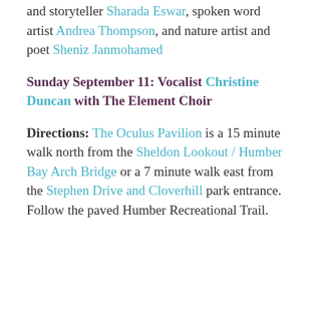and storyteller Sharada Eswar, spoken word artist Andrea Thompson, and nature artist and poet Sheniz Janmohamed
Sunday September 11: Vocalist Christine Duncan with The Element Choir
Directions: The Oculus Pavilion is a 15 minute walk north from the Sheldon Lookout / Humber Bay Arch Bridge or a 7 minute walk east from the Stephen Drive and Cloverhill park entrance. Follow the paved Humber Recreational Trail.